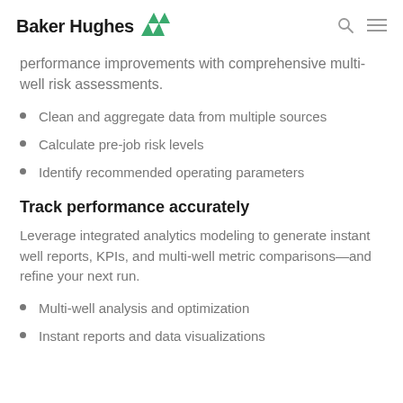Baker Hughes
performance improvements with comprehensive multi-well risk assessments.
Clean and aggregate data from multiple sources
Calculate pre-job risk levels
Identify recommended operating parameters
Track performance accurately
Leverage integrated analytics modeling to generate instant well reports, KPIs, and multi-well metric comparisons—and refine your next run.
Multi-well analysis and optimization
Instant reports and data visualizations